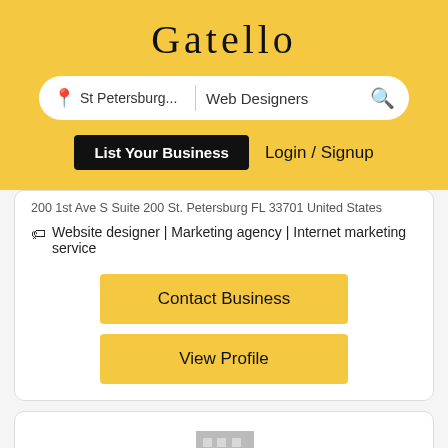Gatello
St Petersburg... | Web Designers
List Your Business    Login / Signup
200 1st Ave S Suite 200 St. Petersburg FL 33701 United States
Website designer | Marketing agency | Internet marketing service
Contact Business
View Profile
[Figure (illustration): Building/business placeholder icon in light grey, showing a stylized city buildings silhouette]